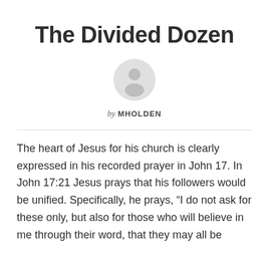The Divided Dozen
[Figure (illustration): Generic user avatar icon — a grey silhouette of a person (head and shoulders) in a circle]
by MHOLDEN
The heart of Jesus for his church is clearly expressed in his recorded prayer in John 17.  In John 17:21 Jesus prays that his followers would be unified.  Specifically, he prays, “I do not ask for these only, but also for those who will believe in me through their word, that they may all be